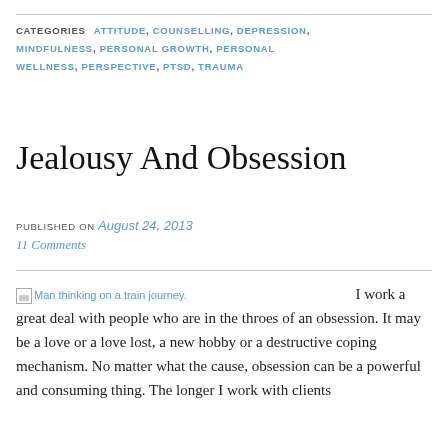CATEGORIES  ATTITUDE, COUNSELLING, DEPRESSION, MINDFULNESS, PERSONAL GROWTH, PERSONAL WELLNESS, PERSPECTIVE, PTSD, TRAUMA
Jealousy And Obsession
PUBLISHED ON August 24, 2013
11 Comments
[Figure (photo): Broken image placeholder with link text: Man thinking on a train journey.]
I work a great deal with people who are in the throes of an obsession. It may be a love or a love lost, a new hobby or a destructive coping mechanism. No matter what the cause, obsession can be a powerful and consuming thing. The longer I work with clients